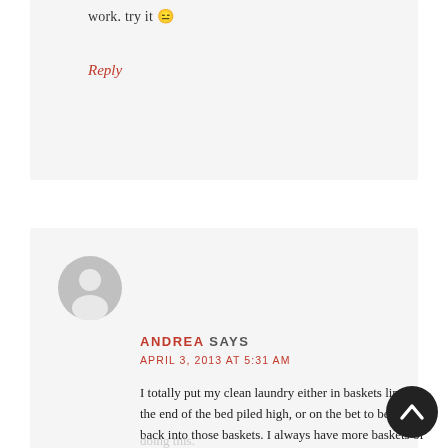work. try it 😑
Reply
[Figure (illustration): Gray circular user avatar icon with silhouette of a person]
ANDREA SAYS
APRIL 3, 2013 AT 5:31 AM
I totally put my clean laundry either in baskets lining the end of the bed piled high, or on the bet to be pushed back into those baskets. I always have more baskets of clean laundry than dirty. it sucks! Maybe I should start doing this.
Reply
[Figure (illustration): Dark circular back-to-top button with upward chevron/arrow]